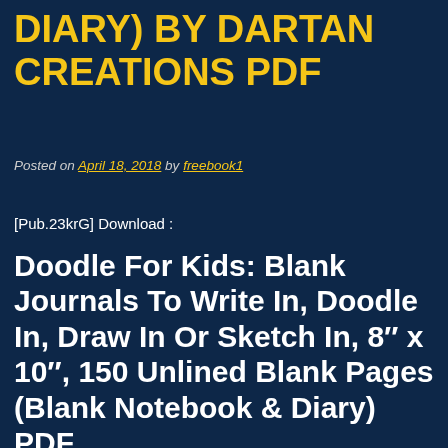DIARY) BY DARTAN CREATIONS PDF
Posted on April 18, 2018 by freebook1
[Pub.23krG] Download :
Doodle For Kids: Blank Journals To Write In, Doodle In, Draw In Or Sketch In, 8″ x 10″, 150 Unlined Blank Pages (Blank Notebook & Diary) PDF